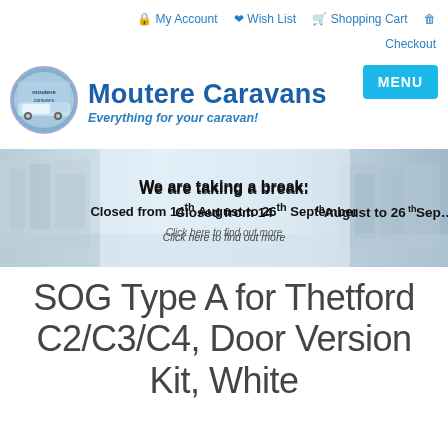My Account  Wish List  Shopping Cart  Checkout
[Figure (logo): Moutere Caravans logo — oval shape with caravan/motorhome scene]
Moutere Caravans — Everything for your caravan!
MENU
[Figure (photo): Banner image with building and waterfront background, overlaid with text: We are taking a break: Closed from 14th August to 26th September. Click here to find out more]
SOG Type A for Thetford C2/C3/C4, Door Version Kit, White